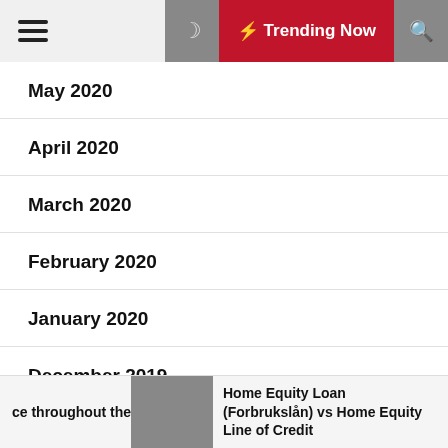Trending Now
May 2020
April 2020
March 2020
February 2020
January 2020
December 2019
November 2019
ce throughout the  Home Equity Loan (Forbrukslån) vs Home Equity Line of Credit